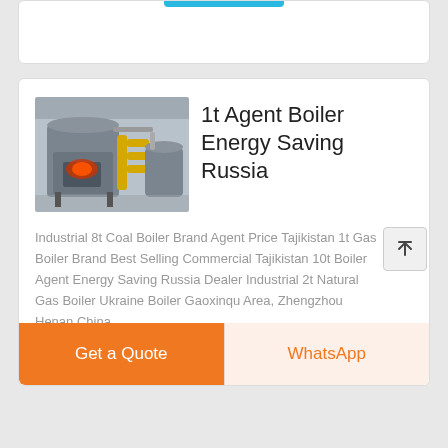[Figure (photo): Industrial boiler equipment in a factory setting, showing a large grey cylindrical boiler with orange/red components and yellow piping.]
1t Agent Boiler Energy Saving Russia
Industrial 8t Coal Boiler Brand Agent Price Tajikistan 1t Gas Boiler Brand Best Selling Commercial Tajikistan 10t Boiler Agent Energy Saving Russia Dealer Industrial 2t Natural Gas Boiler Ukraine Boiler Gaoxinqu Area, Zhengzhou Henan China. 0086-371 Supplier 1t Biomass
Get a Quote
WhatsApp